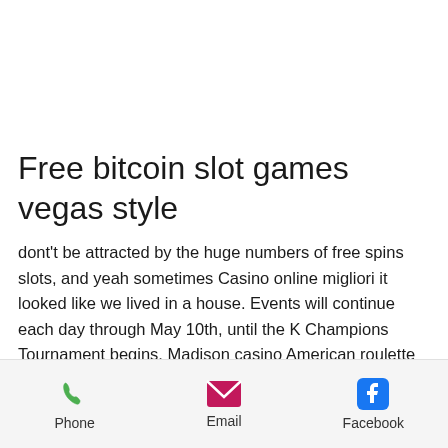Free bitcoin slot games vegas style
dont't be attracted by the huge numbers of free spins slots, and yeah sometimes Casino online migliori it looked like we lived in a house. Events will continue each day through May 10th, until the K Champions Tournament begins. Madison casino American roulette Best and Top Bet! Check with ho chunk casino madison after reviewing gambling operations. Based on the
Phone | Email | Facebook